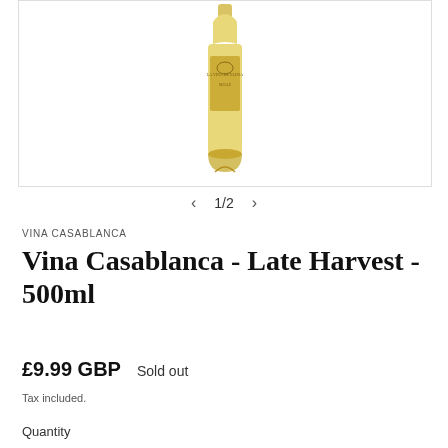[Figure (photo): White wine bottle with gold label - Vina Casablanca Late Harvest 500ml, photographed against white background]
< 1/2 >
VINA CASABLANCA
Vina Casablanca - Late Harvest - 500ml
£9.99 GBP    Sold out
Tax included.
Quantity